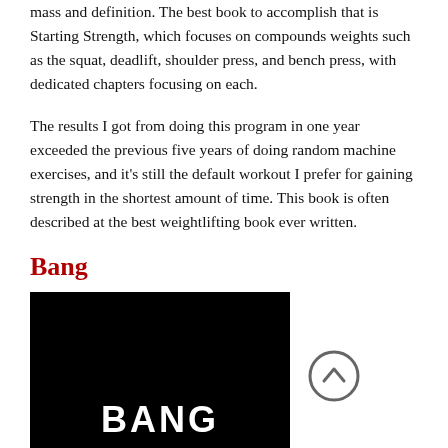mass and definition. The best book to accomplish that is Starting Strength, which focuses on compounds weights such as the squat, deadlift, shoulder press, and bench press, with dedicated chapters focusing on each.
The results I got from doing this program in one year exceeded the previous five years of doing random machine exercises, and it’s still the default workout I prefer for gaining strength in the shortest amount of time. This book is often described at the best weightlifting book ever written.
Bang
[Figure (photo): Book cover image with black background and white bold text reading 'BANG', with a circular up-arrow navigation button to the right.]